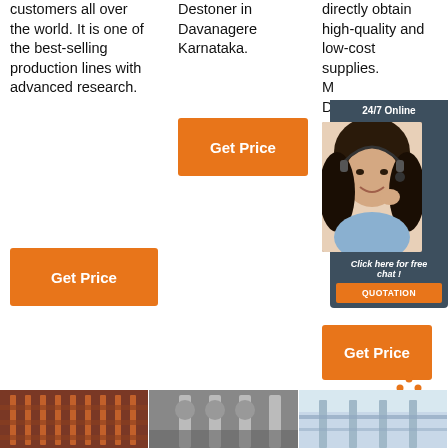customers all over the world. It is one of the best-selling production lines with advanced research.
Destoner in Davanagere Karnataka.
directly obtain high-quality and low-cost supplies. M... D... s... e... th... ag...
[Figure (screenshot): Orange Get Price button in column 1]
[Figure (screenshot): Orange Get Price button in column 2]
[Figure (screenshot): 24/7 Online chat widget with agent photo, Click here for free chat, and QUOTATION button]
[Figure (screenshot): Orange Get Price button in column 3]
[Figure (infographic): TOP icon with orange dots forming a triangle above orange TOP text]
[Figure (photo): Three factory/industrial facility images in a row at the bottom]